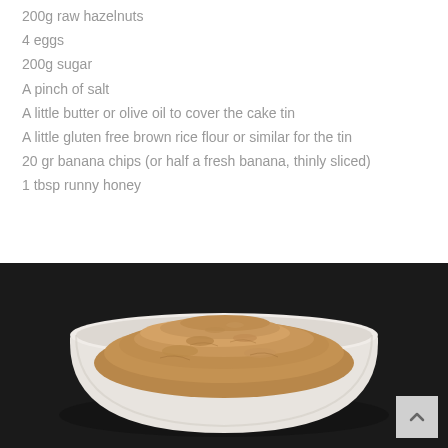200g raw hazelnuts
4 eggs
200g sugar
A pinch of salt
A little butter or olive oil to cover the cake tin
A little gluten free brown rice flour or similar for the tin
20 gr banana chips (or half a fresh banana, thinly sliced)
1 tbsp runny honey
[Figure (photo): A white bowl filled with ground hazelnut meal or brown crumbly mixture, photographed from above on a dark background.]